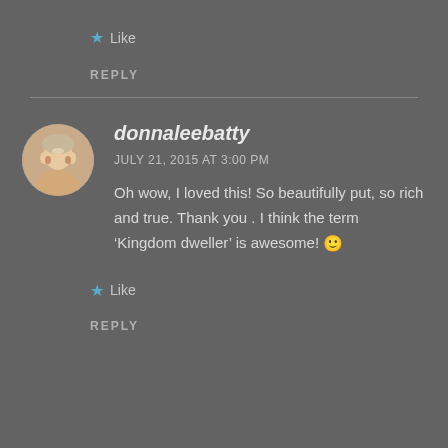Like
REPLY
donnaleebatty
JULY 21, 2015 AT 3:00 PM
Oh wow, I loved this! So beautifully put, so rich and true. Thank you . I think the term ‘Kingdom dweller’ is awesome! 🙂
Like
REPLY